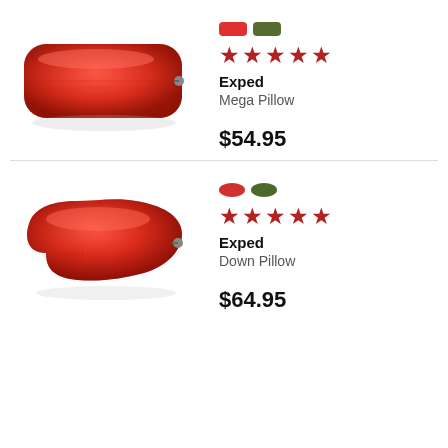[Figure (photo): Red rectangular inflatable camping pillow (Exped Mega Pillow) photographed on white background]
[Figure (other): Two color swatches: red and olive green rectangular shapes]
★★★★★
Exped
Mega Pillow
$54.95
[Figure (photo): Red curved/organic shaped inflatable camping pillow (Exped Down Pillow) photographed on white background]
[Figure (other): Two color swatches: red and olive green oval shapes]
★★★★★
Exped
Down Pillow
$64.95